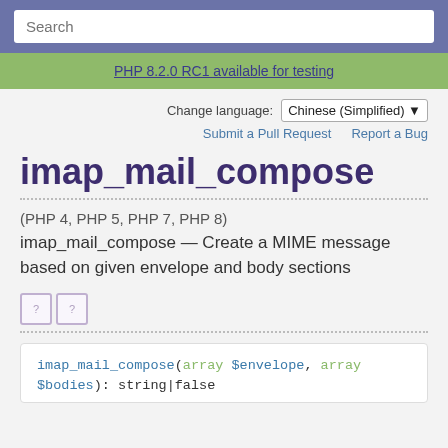Search
PHP 8.2.0 RC1 available for testing
Change language: Chinese (Simplified)
Submit a Pull Request   Report a Bug
imap_mail_compose
(PHP 4, PHP 5, PHP 7, PHP 8)
imap_mail_compose — Create a MIME message based on given envelope and body sections
[Figure (other): Two small icon boxes with question marks]
imap_mail_compose(array $envelope, array $bodies): string|false